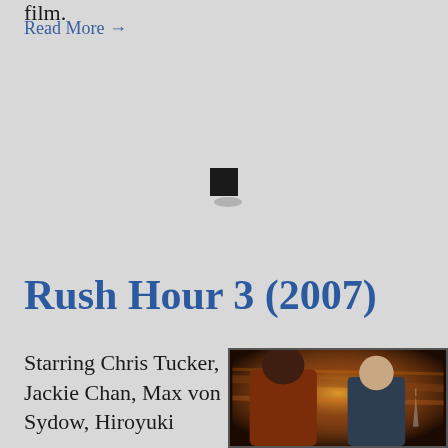film.
Read More →
[Figure (other): Small black stop/square icon with shadow]
Rush Hour 3 (2007)
Starring Chris Tucker, Jackie Chan, Max von Sydow, Hiroyuki
[Figure (photo): Movie poster for Rush Hour 3 showing two actors against a motion-blurred orange background]